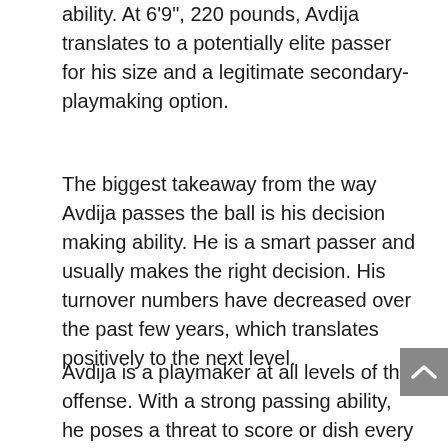ability. At 6'9", 220 pounds, Avdija translates to a potentially elite passer for his size and a legitimate secondary-playmaking option.
The biggest takeaway from the way Avdija passes the ball is his decision making ability. He is a smart passer and usually makes the right decision. His turnover numbers have decreased over the past few years, which translates positively to the next level.
Avdija is a playmaker at all levels of the offense. With a strong passing ability, he poses a threat to score or dish every time he puts the ball on the floor. Part of Avdija's danger offensively is his ability to supplement the lack of explosion with smart, heads-up playmaking, including passing off the dribble and driving to the basket. Avdija has a knack for whipping passes to open shooters on the perimeter, making smart drop-off